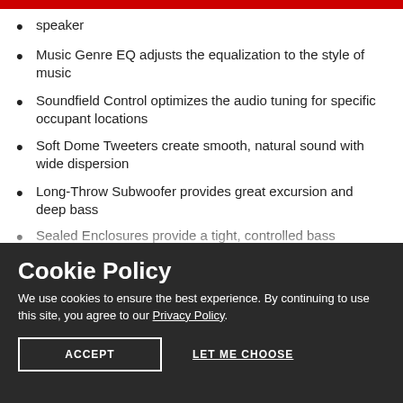speaker
Music Genre EQ adjusts the equalization to the style of music
Soundfield Control optimizes the audio tuning for specific occupant locations
Soft Dome Tweeters create smooth, natural sound with wide dispersion
Long-Throw Subwoofer provides great excursion and deep bass
Sealed Enclosures provide a tight, controlled bass
Cookie Policy
We use cookies to ensure the best experience. By continuing to use this site, you agree to our Privacy Policy.
ACCEPT
LET ME CHOOSE